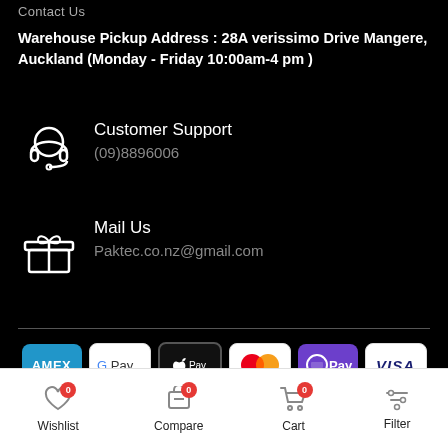Contact Us
Warehouse Pickup Address : 28A verissimo Drive Mangere, Auckland (Monday - Friday 10:00am-4 pm )
Customer Support
(09)8896006
Mail Us
Paktec.co.nz@gmail.com
[Figure (infographic): Payment method logos: AMEX, G Pay, Apple Pay, Mastercard, O Pay, VISA]
© 2021 paktec. All rights reserved.
Wishlist 0  Compare 0  Cart 0  Filter